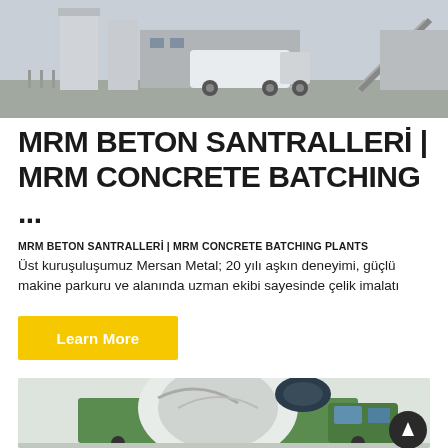[Figure (photo): Industrial concrete batching plant facility with trucks and conveyor belts, outdoor daytime photo]
MRM BETON SANTRALLERİ | MRM CONCRETE BATCHING ...
MRM BETON SANTRALLERİ | MRM CONCRETE BATCHING PLANTS
Üst kuruşuluşumuz Mersan Metal; 20 yılı aşkın deneyimi, güçlü makine parkuru ve alanında uzman ekibi sayesinde çelik imalatı
Learn More
[Figure (photo): Green concrete mixer truck with rotating drum, close-up photo]